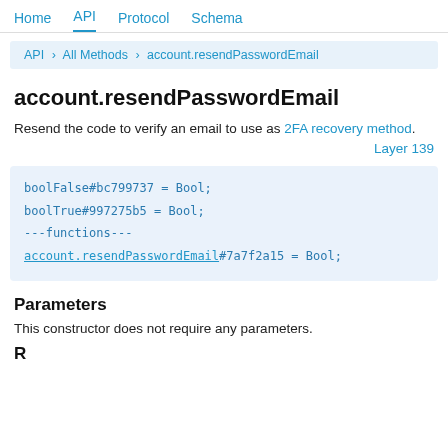Home  API  Protocol  Schema
API > All Methods > account.resendPasswordEmail
account.resendPasswordEmail
Resend the code to verify an email to use as 2FA recovery method.
Layer 139
boolFalse#bc799737 = Bool;
boolTrue#997275b5 = Bool;
---functions---
account.resendPasswordEmail#7a7f2a15 = Bool;
Parameters
This constructor does not require any parameters.
Result